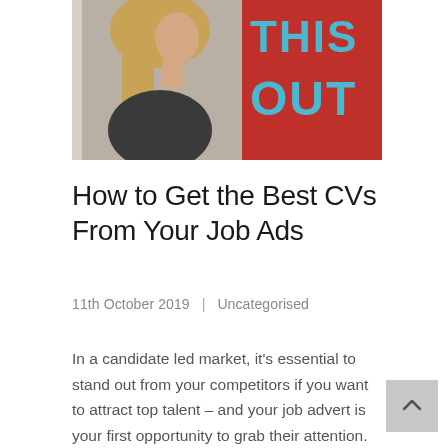[Figure (photo): Woman with long blond hair looking sideways, in front of a red sign with letters 'THIS OUT' in large blue and yellow text]
How to Get the Best CVs From Your Job Ads
11th October 2019  |  Uncategorised
In a candidate led market, it's essential to stand out from your competitors if you want to attract top talent – and your job advert is your first opportunity to grab their attention.